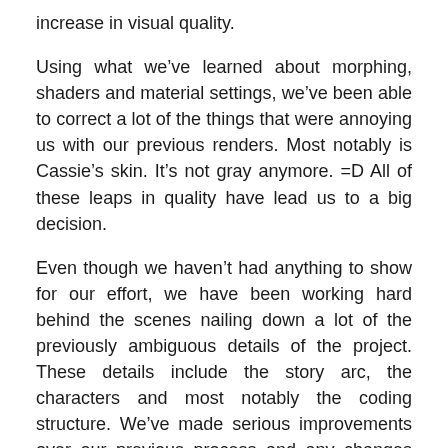increase in visual quality.
Using what we’ve learned about morphing, shaders and material settings, we’ve been able to correct a lot of the things that were annoying us with our previous renders. Most notably is Cassie’s skin. It’s not gray anymore. =D All of these leaps in quality have lead us to a big decision.
Even though we haven’t had anything to show for our effort, we have been working hard behind the scenes nailing down a lot of the previously ambiguous details of the project. These details include the story arc, the characters and most notably the coding structure. We’ve made serious improvements over our previous process and any changes going forward will be incremental improvements rather than huge leaps in production quality. That said, we believe it’s time to discard the remainder of the alpha and move directly into beta.
So as of now we are officially in beta. Our goal is to release